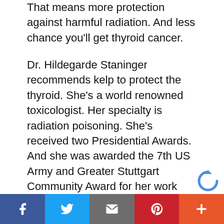That means more protection against harmful radiation. And less chance you'll get thyroid cancer.
Dr. Hildegarde Staninger recommends kelp to protect the thyroid. She's a world renowned toxicologist. Her specialty is radiation poisoning. She's received two Presidential Awards. And she was awarded the 7th US Army and Greater Stuttgart Community Award for her work during Operation Desert Storm. Currently, she runs a detoxification and integrative medicine clinic in Los Angeles.
Dr. Ray Sahelian is a popular medical writer. He's appeared on NBC, CBS, and CNN. He agrees that “kelp is a healthy sea vegetable to include in on